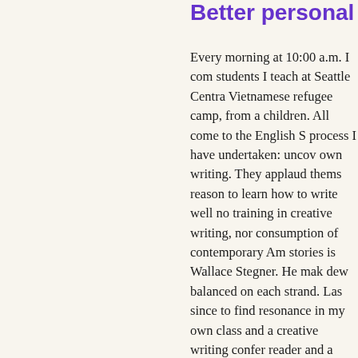Better personal stateme...
Every morning at 10:00 a.m. I com students I teach at Seattle Centra Vietnamese refugee camp, from a children. All come to the English S process I have undertaken: uncov own writing. They applaud thems reason to learn how to write well no training in creative writing, nor consumption of contemporary Am stories is Wallace Stegner. He mak dew balanced on each strand. Las since to find resonance in my own class and a creative writing confer reader and a better writer.
I'm looking for a graduate progra studies: strong mentors and tight phrases to see the whole piece, it balance the hours of solitary writi Throughout this process of thaw...